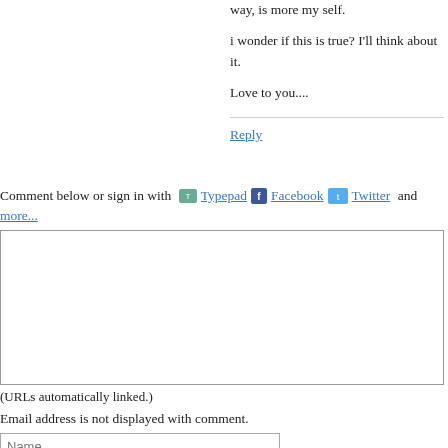way, is more my self.
i wonder if this is true? I'll think about it.
Love to you....
Reply
Comment below or sign in with  Typepad  Facebook  Twitter and more...
(URLs automatically linked.)
Email address is not displayed with comment.
Name